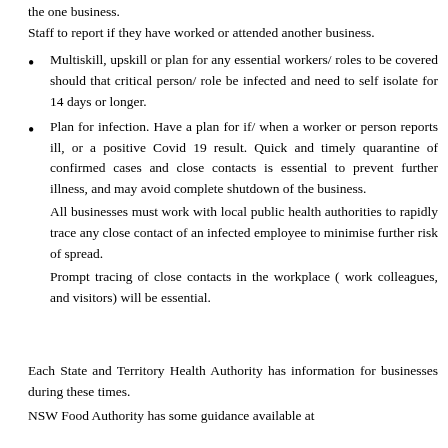the one business. Staff to report if they have worked or attended another business.
Multiskill, upskill or plan for any essential workers/ roles to be covered should that critical person/ role be infected and need to self isolate for 14 days or longer.
Plan for infection. Have a plan for if/ when a worker or person reports ill, or a positive Covid 19 result. Quick and timely quarantine of confirmed cases and close contacts is essential to prevent further illness, and may avoid complete shutdown of the business. All businesses must work with local public health authorities to rapidly trace any close contact of an infected employee to minimise further risk of spread. Prompt tracing of close contacts in the workplace ( work colleagues, and visitors) will be essential.
Each State and Territory Health Authority has information for businesses during these times.
NSW Food Authority has some guidance available at